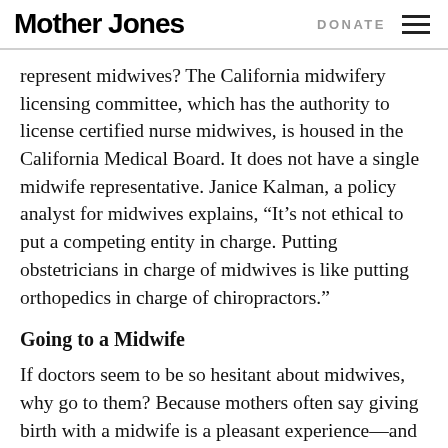Mother Jones | DONATE
represent midwives? The California midwifery licensing committee, which has the authority to license certified nurse midwives, is housed in the California Medical Board. It does not have a single midwife representative. Janice Kalman, a policy analyst for midwives explains, “It’s not ethical to put a competing entity in charge. Putting obstetricians in charge of midwives is like putting orthopedics in charge of chiropractors.”
Going to a Midwife
If doctors seem to be so hesitant about midwives, why go to them? Because mothers often say giving birth with a midwife is a pleasant experience—and